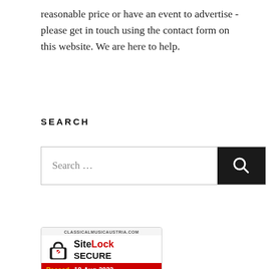reasonable price or have an event to advertise - please get in touch using the contact form on this website. We are here to help.
SEARCH
[Figure (screenshot): Search input box with placeholder 'Search ...' and a dark search button with magnifying glass icon]
[Figure (logo): SiteLock SECURE badge for classicalmusicaustria.com. Passed 19-Aug-2022]